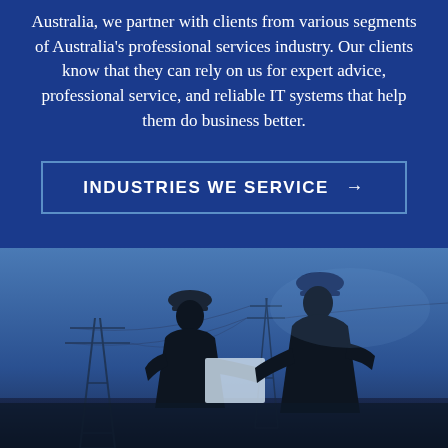Australia, we partner with clients from various segments of Australia's professional services industry. Our clients know that they can rely on us for expert advice, professional service, and reliable IT systems that help them do business better.
INDUSTRIES WE SERVICE →
[Figure (photo): Silhouette of two workers in hard hats reviewing documents/blueprints near electrical power line towers against a blue sky background]